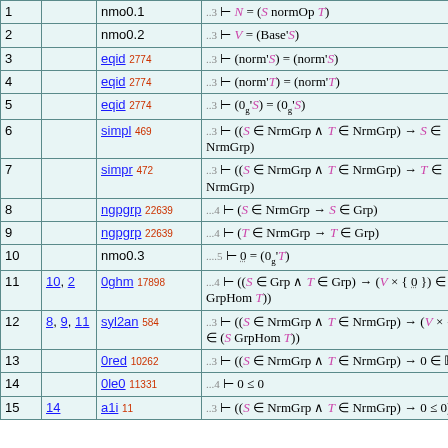| # | Refs | Rule | Formula |
| --- | --- | --- | --- |
| 1 |  | nmo0.1 | ..3 ⊢ N = (S normOp T) |
| 2 |  | nmo0.2 | ..3 ⊢ V = (Base'S) |
| 3 |  | eqid 2774 | ..3 ⊢ (norm'S) = (norm'S) |
| 4 |  | eqid 2774 | ..3 ⊢ (norm'T) = (norm'T) |
| 5 |  | eqid 2774 | ..3 ⊢ (0g'S) = (0g'S) |
| 6 |  | simpl 469 | ..3 ⊢ ((S ∈ NrmGrp ∧ T ∈ NrmGrp) → S ∈ NrmGrp) |
| 7 |  | simpr 472 | ..3 ⊢ ((S ∈ NrmGrp ∧ T ∈ NrmGrp) → T ∈ NrmGrp) |
| 8 |  | ngpgrp 22639 | ...4 ⊢ (S ∈ NrmGrp → S ∈ Grp) |
| 9 |  | ngpgrp 22639 | ...4 ⊢ (T ∈ NrmGrp → T ∈ Grp) |
| 10 |  | nmo0.3 | ....5 ⊢ 0 = (0g'T) |
| 11 | 10, 2 | 0ghm 17898 | ...4 ⊢ ((S ∈ Grp ∧ T ∈ Grp) → (V × { 0 }) ∈ (S GrpHom T)) |
| 12 | 8, 9, 11 | syl2an 584 | ..3 ⊢ ((S ∈ NrmGrp ∧ T ∈ NrmGrp) → (V × { 0 }) ∈ (S GrpHom T)) |
| 13 |  | 0red 10262 | ..3 ⊢ ((S ∈ NrmGrp ∧ T ∈ NrmGrp) → 0 ∈ ℝ) |
| 14 |  | 0le0 11331 | ...4 ⊢ 0 ≤ 0 |
| 15 | 14 | a1i 11 | ..3 ⊢ ((S ∈ NrmGrp ∧ T ∈ NrmGrp) → 0 ≤ 0) |